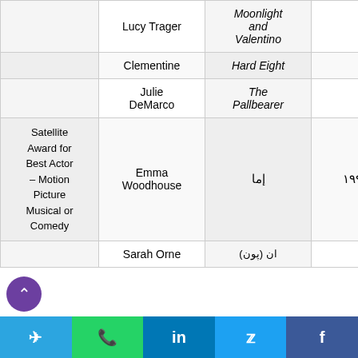|  |  |  |  |
| --- | --- | --- | --- |
|  | Lucy Trager | Moonlight and Valentino |  |
|  | Clementine | Hard Eight |  |
|  | Julie DeMarco | The Pallbearer |  |
| Satellite Award for Best Actor – Motion Picture Musical or Comedy | Emma Woodhouse | إما | ۱۹۹۶ |
|  | Sarah Orne | ... |  |